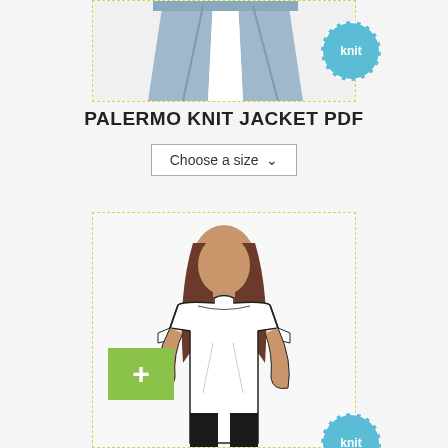[Figure (illustration): Top portion of a sewing pattern product card showing pants/trousers illustration with a teal 'knit' badge circle, framed with dashed yellow-green border]
PALERMO KNIT JACKET PDF
[Figure (screenshot): Dropdown selector button reading 'Choose a size' with a downward chevron]
[Figure (illustration): Sewing pattern product card showing a fashion illustration of a woman wearing a white short-sleeve t-shirt and black pants, with a teal 'knit' badge circle at bottom right, framed with dashed yellow-green border. A green plus (+) button appears to the left of the card.]